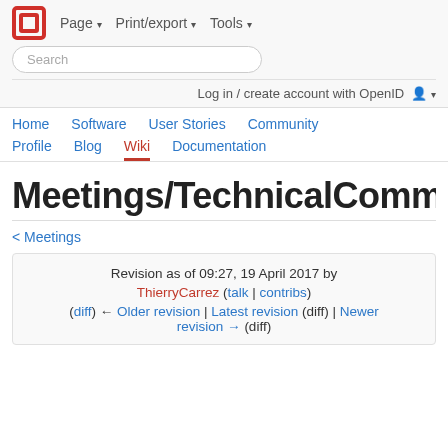Page ▾   Print/export ▾   Tools ▾
[Figure (logo): OpenStack logo — red square outline icon]
Search
Log in / create account with OpenID
Home   Software   User Stories   Community
Profile   Blog   Wiki   Documentation
Meetings/TechnicalComm
< Meetings
Revision as of 09:27, 19 April 2017 by ThierryCarrez (talk | contribs)
(diff) ← Older revision | Latest revision (diff) | Newer revision → (diff)